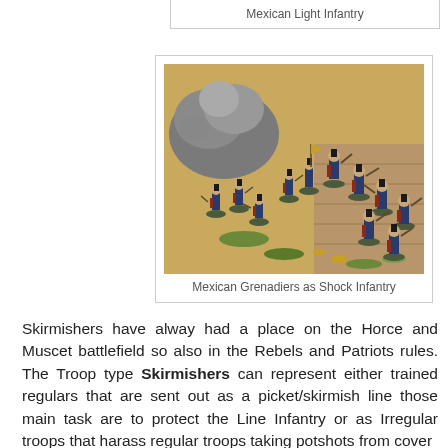Mexican Light Infantry
[Figure (photo): Painted miniature figures of Mexican Grenadiers in dark blue uniforms with red trim, posed as Shock Infantry on a wargame battlefield terrain board.]
Mexican Grenadiers as Shock Infantry
Skirmishers have alway had a place on the Horce and Muscet battlefield so also in the Rebels and Patriots rules. The Troop type Skirmishers can represent either trained regulars that are sent out as a picket/skirmish line those main task are to protect the Line Infantry or as Irregular troops that harass regular troops taking potshots from cover